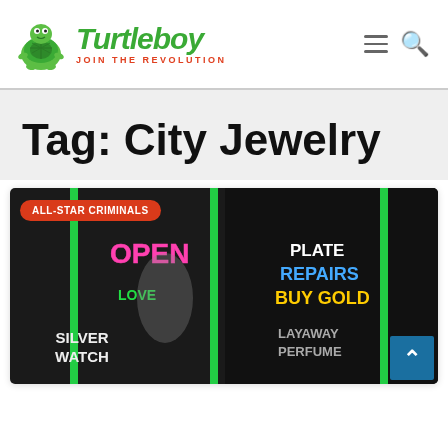Turtleboy — JOIN THE REVOLUTION
Tag: City Jewelry
[Figure (photo): Storefront photo of a jewelry shop with neon signs reading OPEN, LOVE, SILVER WATCH, PLATE REPAIRS, BUY GOLD, LAYAWAY, PERFUME. An ALL-STAR CRIMINALS badge is overlaid in the top left corner.]